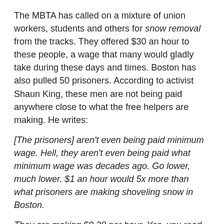The MBTA has called on a mixture of union workers, students and others for snow removal from the tracks. They offered $30 an hour to these people, a wage that many would gladly take during these days and times. Boston has also pulled 50 prisoners. According to activist Shaun King, these men are not being paid anywhere close to what the free helpers are making. He writes:
[The prisoners] aren't even being paid minimum wage. Hell, they aren't even being paid what minimum wage was decades ago. Go lower, much lower. $1 an hour would 5x more than what prisoners are making shoveling snow in Boston.
They are making $0.20 per hour. Yes, you read that correctly – twenty cents per hour. In other words, those making $30 per hour are making 150x what the prisoners are making for the same work.